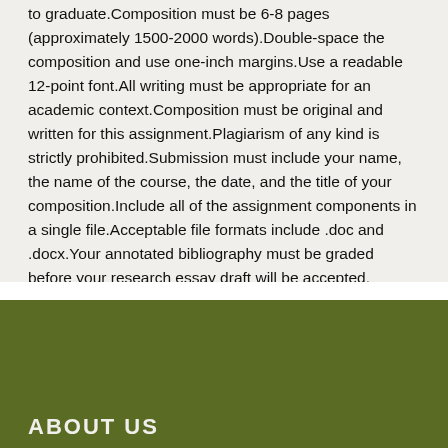to graduate.Composition must be 6-8 pages (approximately 1500-2000 words).Double-space the composition and use one-inch margins.Use a readable 12-point font.All writing must be appropriate for an academic context.Composition must be original and written for this assignment.Plagiarism of any kind is strictly prohibited.Submission must include your name, the name of the course, the date, and the title of your composition.Include all of the assignment components in a single file.Acceptable file formats include .doc and .docx.Your annotated bibliography must be graded before your research essay draft will be accepted.
ABOUT US